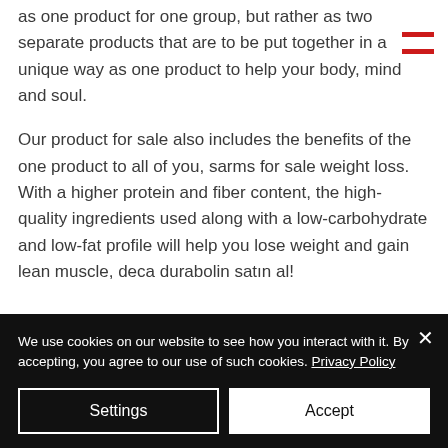as one product for one group, but rather as two separate products that are to be put together in a unique way as one product to help your body, mind and soul.

Our product for sale also includes the benefits of the one product to all of you, sarms for sale weight loss. With a higher protein and fiber content, the high-quality ingredients used along with a low-carbohydrate and low-fat profile will help you lose weight and gain lean muscle, deca durabolin satın al!
We use cookies on our website to see how you interact with it. By accepting, you agree to our use of such cookies. Privacy Policy